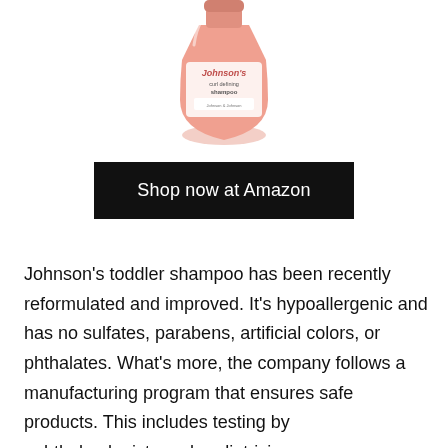[Figure (photo): Johnson's curl defining shampoo bottle — pink/coral colored bottle with Johnson's branding visible at top]
Shop now at Amazon
Johnson's toddler shampoo has been recently reformulated and improved. It's hypoallergenic and has no sulfates, parabens, artificial colors, or phthalates. What's more, the company follows a manufacturing program that ensures safe products. This includes testing by ophthalmologists and pediatricians.